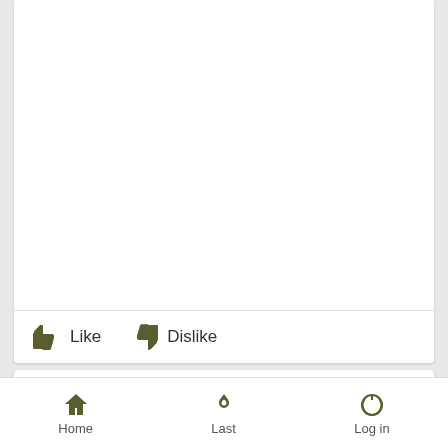[Figure (screenshot): White card area with empty content body and a Like/Dislike action bar at the bottom]
Like   Dislike
Fri Sep 09, 2011 1:29 pm
by Soulmonster
Home   Last   Log in